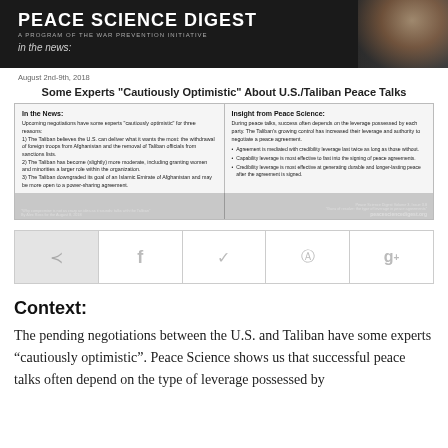[Figure (other): Peace Science Digest banner with logo, subtitle 'A Program of the War Prevention Initiative', 'in the news:' tag, and a dark background with partial photo of a woman's face on the right]
August 2nd-9th, 2018
Some Experts "Cautiously Optimistic" About U.S./Taliban Peace Talks
[Figure (infographic): Two-column info box: Left column 'In the News:' with text about upcoming negotiations and three numbered reasons; Right column 'Insight from Peace Science:' with text about leverage in peace talks and two bullet points. Footer with source citation and peacesciencedigest.org URL.]
[Figure (other): Social sharing bar with share, Facebook, Twitter, Pinterest, and Google+ icons]
Context:
The pending negotiations between the U.S. and Taliban have some experts “autiously optimistic”. Peace Science shows us that successful peace talks often depend on the type of leverage possessed by